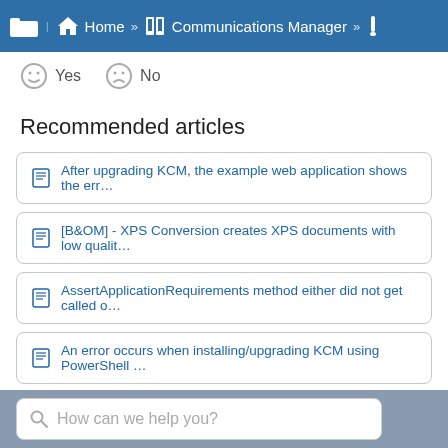Home » Communications Manager »
Yes  No
Recommended articles
After upgrading KCM, the example web application shows the err…
[B&OM] - XPS Conversion creates XPS documents with low qualit…
AssertApplicationRequirements method either did not get called o…
An error occurs when installing/upgrading KCM using PowerShell …
Article type:
Topic
Tags: